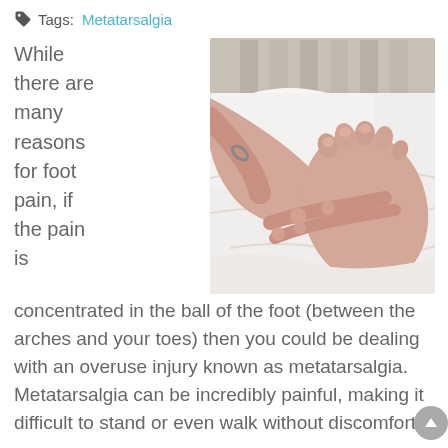Tags: Metatarsalgia
While there are many reasons for foot pain, if the pain is
[Figure (photo): A person sitting on a white bed, holding and massaging the sole of their foot with both hands, showing toes and the ball of the foot.]
concentrated in the ball of the foot (between the arches and your toes) then you could be dealing with an overuse injury known as metatarsalgia. Metatarsalgia can be incredibly painful, making it difficult to stand or even walk without discomfort.